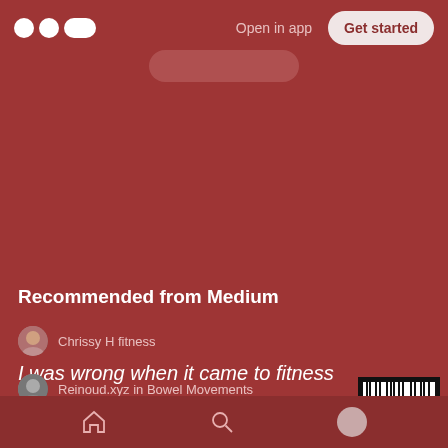Open in app  Get started
Recommended from Medium
Chrissy H fitness
I was wrong when it came to fitness
Reinoud.xyz in Bowel Movements
Intermittent fasting explained in just two minutes
[Figure (photo): Barcode or black and white stripes image thumbnail]
Home  Search  Profile